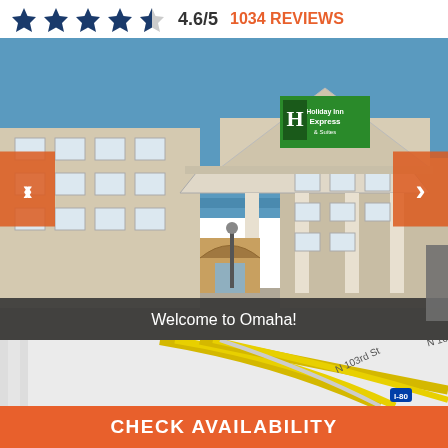[Figure (other): Star rating row showing 4.6/5 with 4 full stars and 1 partial star, and '1034 REVIEWS' in orange text]
[Figure (photo): Exterior photo of Holiday Inn Express & Suites hotel building with blue sky background and 'Welcome to Omaha!' overlay text at the bottom]
[Figure (map): Street map showing area near N 101st St, N 103rd St, Scott Cir, and I-80 in Omaha Nebraska]
CHECK AVAILABILITY